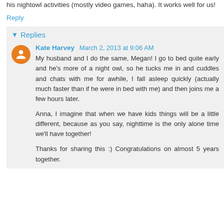his nightowl activities (mostly video games, haha). It works well for us!
Reply
Replies
Kate Harvey  March 2, 2013 at 9:06 AM
My husband and I do the same, Megan! I go to bed quite early and he's more of a night owl, so he tucks me in and cuddles and chats with me for awhile, I fall asleep quickly (actually much faster than if he were in bed with me) and then joins me a few hours later.

Anna, I imagine that when we have kids things will be a little different, because as you say, nighttime is the only alone time we'll have together!

Thanks for sharing this :) Congratulations on almost 5 years together.